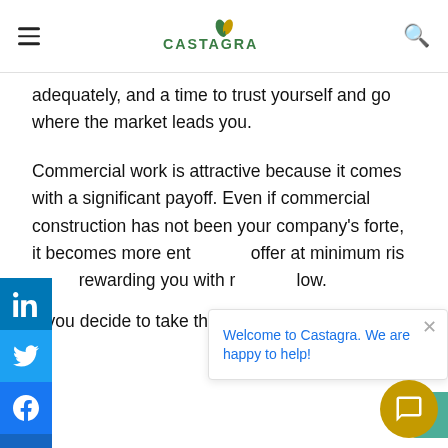CASTAGRA
adequately, and a time to trust yourself and go where the market leads you.
Commercial work is attractive because it comes with a significant payoff. Even if commercial construction has not been your company's forte, it becomes more ent... offer at minimum ris... rewarding you with r... low.
If you decide to take the plunge, you will need...